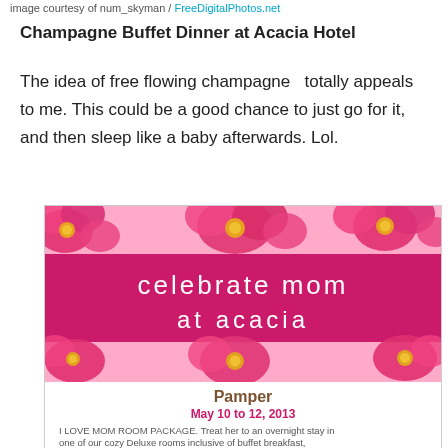image courtesy of num_skyman / FreeDigitalPhotos.net
Champagne Buffet Dinner at Acacia Hotel
The idea of free flowing champagne  totally appeals to me. This could be a good chance to just go for it, and then sleep like a baby afterwards. Lol.
[Figure (illustration): Promotional image for Acacia Hotel Mother's Day event titled 'celebrate mom at acacia'. Features pink gerbera daisies at top and bottom, a pink banner with white decorative text, a 'Pamper' section, dates May 10 to 12 2013, and text describing the I LOVE MOM ROOM PACKAGE with an overnight stay in cozy Deluxe rooms inclusive of buffet breakfast, choice of lunch or dinner buffet OR one hour in-room massage.]